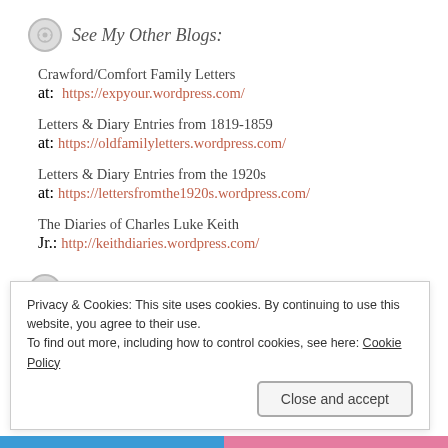See My Other Blogs:
Crawford/Comfort Family Letters
at:  https://expyour.wordpress.com/
Letters & Diary Entries from 1819-1859
at: https://oldfamilyletters.wordpress.com/
Letters & Diary Entries from the 1920s
at: https://lettersfromthe1920s.wordpress.com/
The Diaries of Charles Luke Keith Jr.: http://keithdiaries.wordpress.com/
Blogs I Follow
Privacy & Cookies: This site uses cookies. By continuing to use this website, you agree to their use.
To find out more, including how to control cookies, see here: Cookie Policy
Close and accept